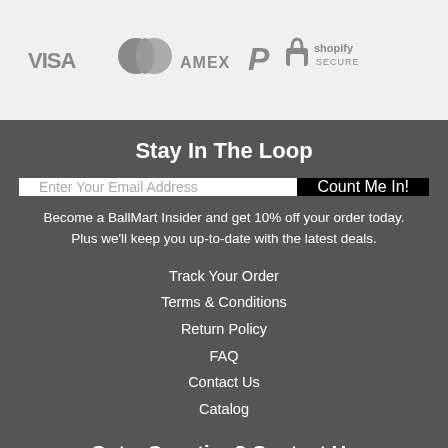[Figure (logo): Payment method icons: VISA, Mastercard, AMEX, PayPal, Shopify Secure]
Stay In The Loop
Enter Your Email Address
Count Me In!
Become a BallMart Insider and get 10% off your order today. Plus we'll keep you up-to-date with the latest deals.
Track Your Order
Terms & Conditions
Return Policy
FAQ
Contact Us
Catalog
Got a Question? Contact Us
1 809 283 3499